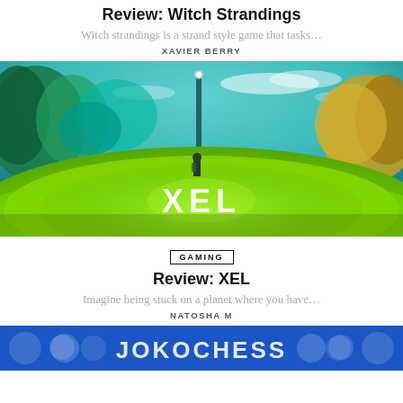Review: Witch Strandings
Witch strandings is a strand style game that tasks…
XAVIER BERRY
[Figure (photo): Screenshot from the game XEL showing a character standing in a lush green alien landscape with glowing teal trees and floating structures, with the white text logo 'XEL' overlaid at the bottom center.]
GAMING
Review: XEL
Imagine being stuck on a planet where you have…
NATOSHA M
[Figure (logo): Blue banner with partial text showing what appears to be 'JOKO CHESS' or similar game/brand logo in white letters with decorative circular dots]